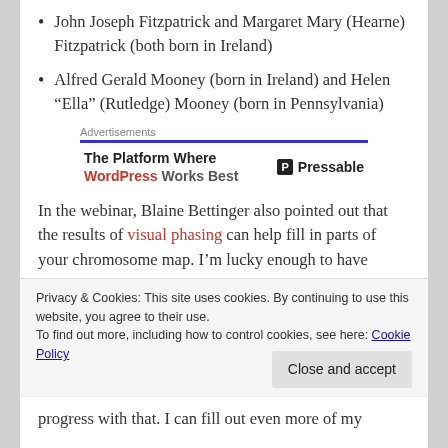John Joseph Fitzpatrick and Margaret Mary (Hearne) Fitzpatrick (both born in Ireland)
Alfred Gerald Mooney (born in Ireland) and Helen “Ella” (Rutledge) Mooney (born in Pennsylvania)
[Figure (other): Advertisement banner: 'The Platform Where WordPress Works Best' with Pressable logo]
In the webinar, Blaine Bettinger also pointed out that the results of visual phasing can help fill in parts of your chromosome map. I’m lucky enough to have
Privacy & Cookies: This site uses cookies. By continuing to use this website, you agree to their use.
To find out more, including how to control cookies, see here: Cookie Policy
progress with that. I can fill out even more of my